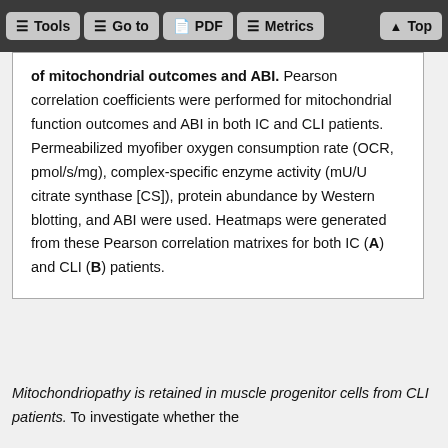Tools  Go to  PDF  Metrics  Top
of mitochondrial outcomes and ABI. Pearson correlation coefficients were performed for mitochondrial function outcomes and ABI in both IC and CLI patients. Permeabilized myofiber oxygen consumption rate (OCR, pmol/s/mg), complex-specific enzyme activity (mU/U citrate synthase [CS]), protein abundance by Western blotting, and ABI were used. Heatmaps were generated from these Pearson correlation matrixes for both IC (A) and CLI (B) patients.
Mitochondriopathy is retained in muscle progenitor cells from CLI patients. To investigate whether the